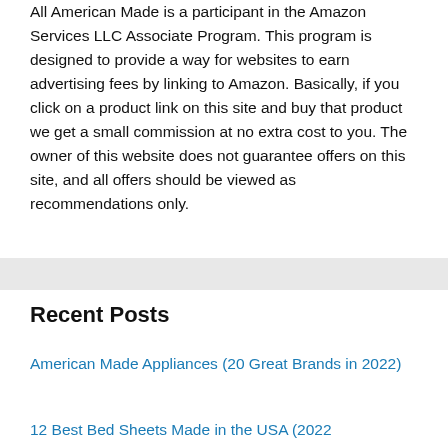All American Made is a participant in the Amazon Services LLC Associate Program. This program is designed to provide a way for websites to earn advertising fees by linking to Amazon. Basically, if you click on a product link on this site and buy that product we get a small commission at no extra cost to you. The owner of this website does not guarantee offers on this site, and all offers should be viewed as recommendations only.
Recent Posts
American Made Appliances (20 Great Brands in 2022)
12 Best Bed Sheets Made in the USA (2022